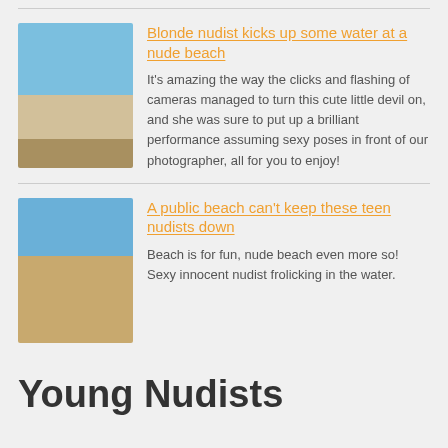[Figure (photo): Two people standing on a rocky beach near blue water]
Blonde nudist kicks up some water at a nude beach
It's amazing the way the clicks and flashing of cameras managed to turn this cute little devil on, and she was sure to put up a brilliant performance assuming sexy poses in front of our photographer, all for you to enjoy!
[Figure (photo): Person standing on a sandy beach with blue sky]
A public beach can't keep these teen nudists down
Beach is for fun, nude beach even more so! Sexy innocent nudist frolicking in the water.
Young Nudists